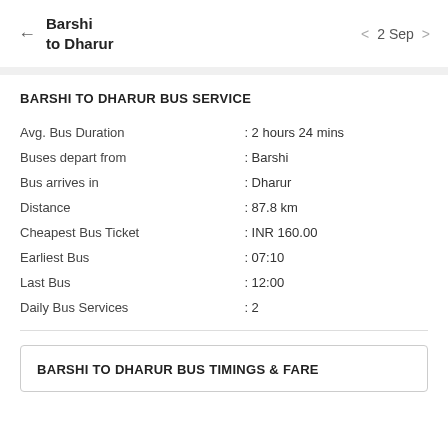Barshi to Dharur  ← | ‹ 2 Sep ›
BARSHI TO DHARUR BUS SERVICE
|  |  |
| --- | --- |
| Avg. Bus Duration | : 2 hours 24 mins |
| Buses depart from | : Barshi |
| Bus arrives in | : Dharur |
| Distance | : 87.8 km |
| Cheapest Bus Ticket | : INR 160.00 |
| Earliest Bus | : 07:10 |
| Last Bus | : 12:00 |
| Daily Bus Services | : 2 |
BARSHI TO DHARUR BUS TIMINGS & FARE